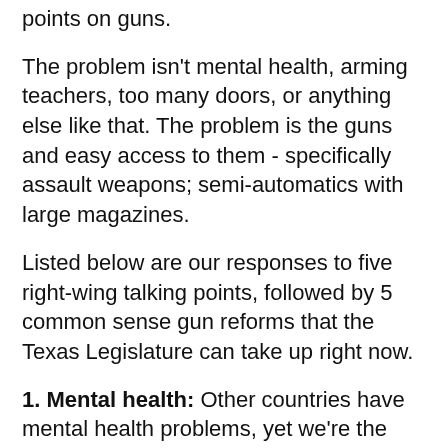points on guns.
The problem isn't mental health, arming teachers, too many doors, or anything else like that. The problem is the guns and easy access to them - specifically assault weapons; semi-automatics with large magazines.
Listed below are our responses to five right-wing talking points, followed by 5 common sense gun reforms that the Texas Legislature can take up right now.
1. Mental health: Other countries have mental health problems, yet we're the only nation that suffers mass casualty shootings with such frequency. The problem isn't mental health, the problem is the guns.
2. "The only thing that stops a good guy with a gun..." (cut off)